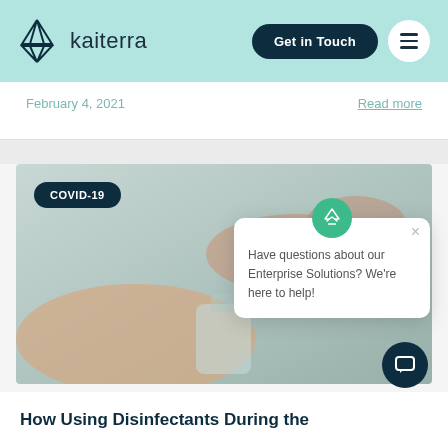[Figure (logo): Kaiterra logo with triangular geometric icon and wordmark]
Get in Touch
February 4, 2021
Read more
[Figure (photo): Close-up photo of hands using hand sanitizer or disinfectant from a bottle]
COVID-19
Have questions about our Enterprise Solutions? We're here to help!
How Using Disinfectants During the